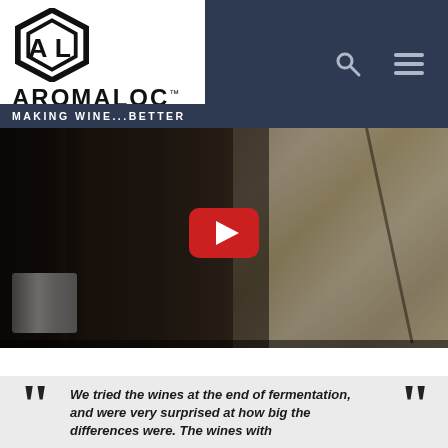AromaLoc - Making Wine...Better
[Figure (screenshot): YouTube video thumbnail showing a person in dark clothing near wine barrels and stone wall, with a red YouTube play button overlay. The video is embedded on the AromaLoc website.]
We tried the wines at the end of fermentation, and were very surprised at how big the differences were. The wines with the treatment were big...